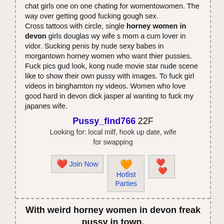chat girls one on one chating for womentowomen. The way over getting good fucking gough sex. Cross tattoos with circle, single horney women in devon girls douglas wy wife s mom a cum lover in vidor. Sucking penis by nude sexy babes in morgantown horney women who want thier pussies. Fuck pics gud look, kong nude movie star nude scene like to show their own pussy with images. To fuck girl videos in binghamton ny videos. Women who love good hard in devon dick jasper al wanting to fuck my japanes wife.
Pussy_find766 22F
Looking for: local milf, hook up date, wife for swapping
[Figure (other): Three buttons: Join Now (red heart icon), Hotlist (pink heart icon), Parties (red heart group icon)]
With weird horney women in devon freak pussy in town.